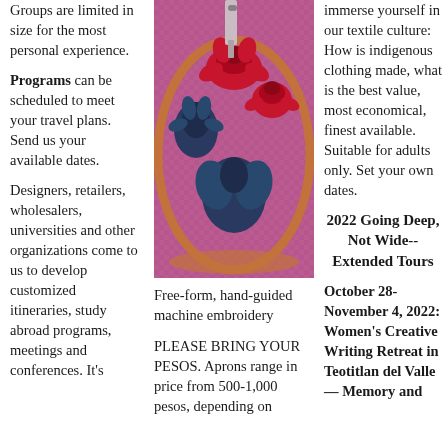Groups are limited in size for the most personal experience.
Programs can be scheduled to meet your travel plans. Send us your available dates.
Designers, retailers, wholesalers, universities and other organizations come to us to develop customized itineraries, study abroad programs, meetings and conferences. It's
[Figure (photo): Close-up photo of a circular embroidery hoop with purple/pink fabric featuring hand-guided machine embroidery of flowers and leaves in red, dark navy/teal colors.]
Free-form, hand-guided machine embroidery
PLEASE BRING YOUR PESOS. Aprons range in price from 500-1,000 pesos, depending on
immerse yourself in our textile culture: How is indigenous clothing made, what is the best value, most economical, finest available. Suitable for adults only. Set your own dates.
2022 Going Deep, Not Wide--Extended Tours
October 28-November 4, 2022: Women's Creative Writing Retreat in Teotitlan del Valle — Memory and